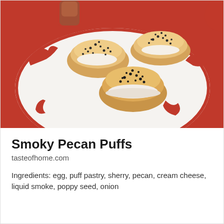[Figure (photo): Three smoky pecan puffs (small baked puff pastry appetizers filled with cream cheese mixture and topped with poppy seeds) arranged on a white plate with red decorative pattern, on a red holiday-themed background.]
Smoky Pecan Puffs
tasteofhome.com
Ingredients: egg, puff pastry, sherry, pecan, cream cheese, liquid smoke, poppy seed, onion